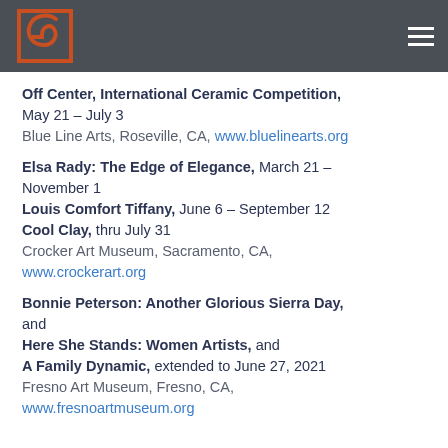[Figure (logo): Decorative spiral logo in orange/red on dark background, top left of header]
Off Center, International Ceramic Competition, May 21 – July 3
Blue Line Arts, Roseville, CA, www.bluelinearts.org
Elsa Rady: The Edge of Elegance, March 21 – November 1
Louis Comfort Tiffany, June 6 – September 12
Cool Clay, thru July 31
Crocker Art Museum, Sacramento, CA, www.crockerart.org
Bonnie Peterson: Another Glorious Sierra Day, and
Here She Stands: Women Artists, and
A Family Dynamic, extended to June 27, 2021
Fresno Art Museum, Fresno, CA, www.fresnoartmuseum.org